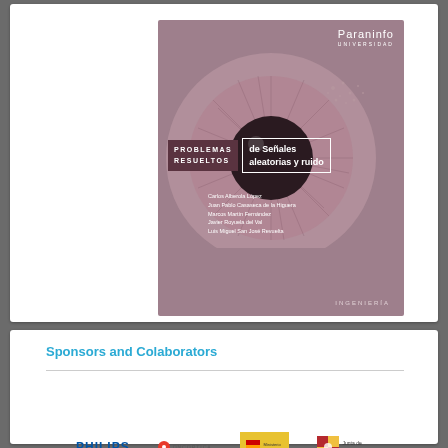[Figure (illustration): Book cover for 'Problemas Resueltos de Señales Aleatorias y Ruido' published by Paraninfo Universidad, featuring a close-up eye graphic on a mauve/pink background. Authors: Carlos Alberola López, Juan Pablo Casaseca de la Higuera, Marcos Martín Fernández, Javier Royuela del Val, Luis Miguel San José Revuelta. Category: Ingeniería.]
Sponsors and Colaborators
[Figure (logo): Sponsor logos: PHILIPS, Oncortica, Spanish Ministry (yellow background), Junta de Castilla y León]